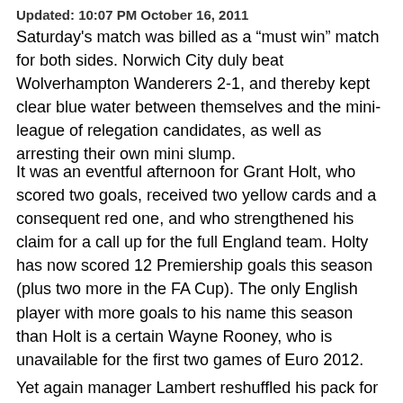Updated: 10:07 PM October 16, 2011
Saturday's match was billed as a “must win” match for both sides. Norwich City duly beat Wolverhampton Wanderers 2-1, and thereby kept clear blue water between themselves and the mini-league of relegation candidates, as well as arresting their own mini slump.
It was an eventful afternoon for Grant Holt, who scored two goals, received two yellow cards and a consequent red one, and who strengthened his claim for a call up for the full England team. Holty has now scored 12 Premiership goals this season (plus two more in the FA Cup). The only English player with more goals to his name this season than Holt is a certain Wayne Rooney, who is unavailable for the first two games of Euro 2012.
Yet again manager Lambert reshuffled his pack for this